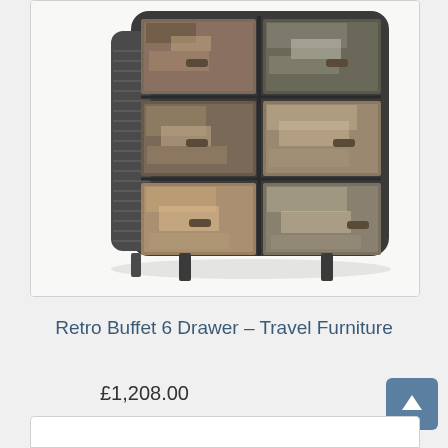[Figure (photo): A retro-style 6-drawer buffet cabinet with a metal frame with rounded corners and legs, featuring reclaimed or distressed wood drawer fronts in various shades of brown, grey, and natural wood tones, with small metal handles. The piece sits on dark metal legs and has a ribbed metal side panel.]
Retro Buffet 6 Drawer – Travel Furniture
£1,208.00